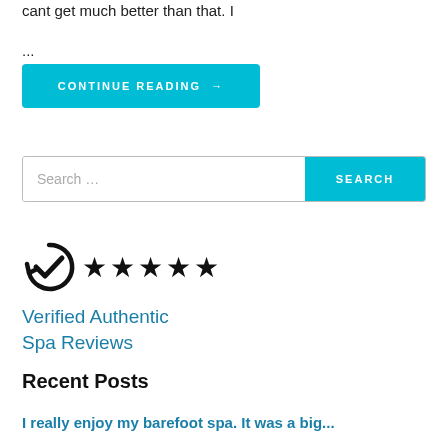cant get much better than that. I
...
CONTINUE READING →
Search …
[Figure (logo): Verified Authentic Spa Reviews badge with checkmark icon and five black stars]
Verified Authentic
Spa Reviews
Recent Posts
I really enjoy my barefoot spa. It was a big...